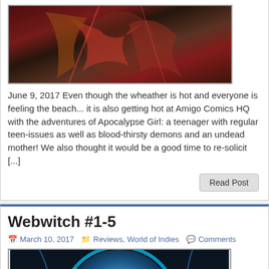[Figure (photo): Comic book cover art showing action figures with red and dark tones]
June 9, 2017 Even though the wheather is hot and everyone is feeling the beach... it is also getting hot at Amigo Comics HQ with the adventures of Apocalypse Girl: a teenager with regular teen-issues as well as blood-thirsty demons and an undead mother! We also thought it would be a good time to re-solicit [...]
Webwitch #1-5
March 10, 2017   Reviews, World of Indies   Comments
[Figure (photo): Webwitch comic book cover showing a man and a woman with auburn hair in front of a glowing blue circular background with dark trees]